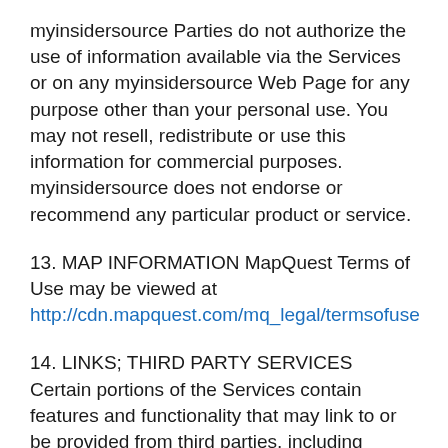myinsidersource Parties do not authorize the use of information available via the Services or on any myinsidersource Web Page for any purpose other than your personal use. You may not resell, redistribute or use this information for commercial purposes. myinsidersource does not endorse or recommend any particular product or service.
13. MAP INFORMATION MapQuest Terms of Use may be viewed at http://cdn.mapquest.com/mq_legal/termsofuse
14. LINKS; THIRD PARTY SERVICES Certain portions of the Services contain features and functionality that may link to or be provided from third parties, including